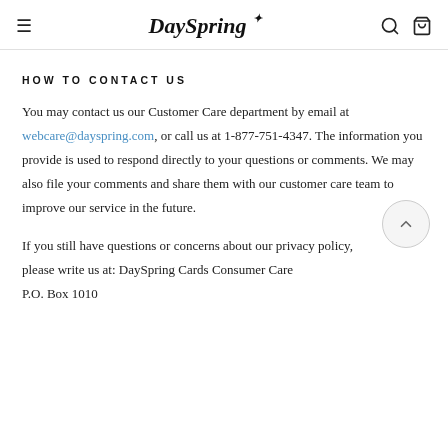DaySpring
HOW TO CONTACT US
You may contact us our Customer Care department by email at webcare@dayspring.com, or call us at 1-877-751-4347. The information you provide is used to respond directly to your questions or comments. We may also file your comments and share them with our customer care team to improve our service in the future.
If you still have questions or concerns about our privacy policy, please write us at: DaySpring Cards Consumer Care P.O. Box 1010